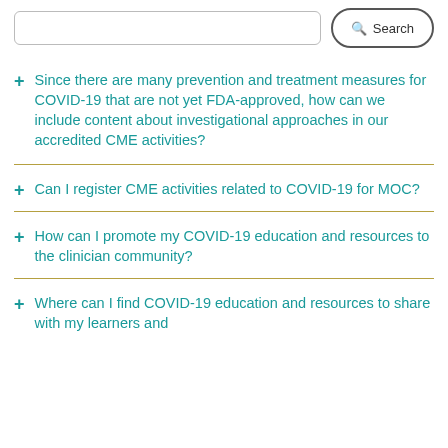[Figure (screenshot): Search bar with text input field and Search button with magnifying glass icon]
Since there are many prevention and treatment measures for COVID-19 that are not yet FDA-approved, how can we include content about investigational approaches in our accredited CME activities?
Can I register CME activities related to COVID-19 for MOC?
How can I promote my COVID-19 education and resources to the clinician community?
Where can I find COVID-19 education and resources to share with my learners and